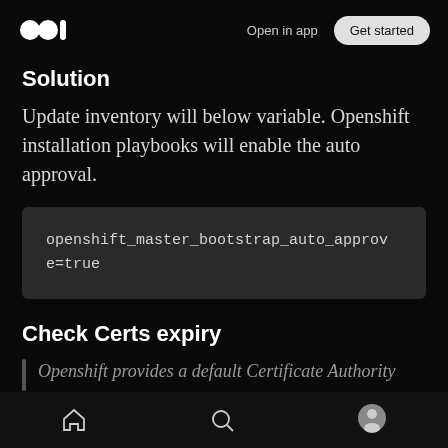Open in app | Get started
Solution
Update inventory will below variable. Openshift installation playbooks will enable the auto approval.
Check Certs expiry
Openshift provides a default Certificate Authority
Home | Search | Profile